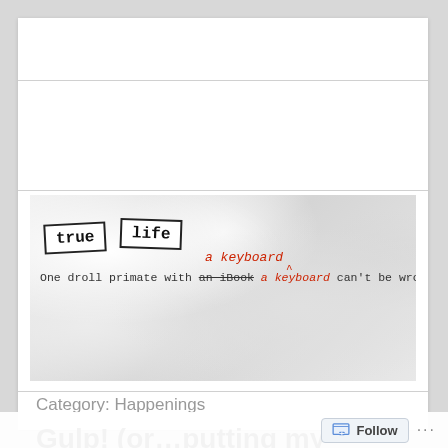[Figure (illustration): Blog header banner on crumpled paper background. Shows two label-style tags reading 'true' and 'life'. Red italic text reads 'a keyboard' with a caret mark below. Typewriter-font tagline: 'One droll primate with an iBook (strikethrough) a keyboard (red insert) can't be wrong.']
Category: Happenings
Gulp! (or…putting my money